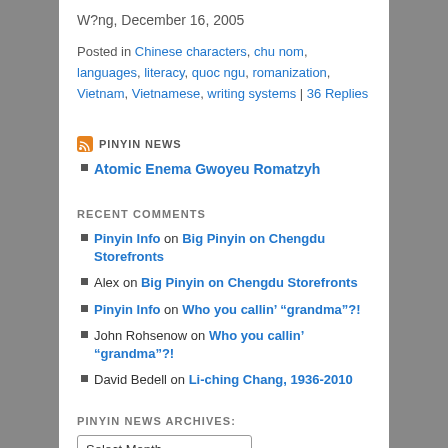W?ng, December 16, 2005
Posted in Chinese characters, chu nom, languages, literacy, quoc ngu, romanization, Vietnam, Vietnamese, writing systems | 36 Replies
PINYIN NEWS
Atomic Enema Gwoyeu Romatzyh
RECENT COMMENTS
Pinyin Info on Big Pinyin on Chengdu Storefronts
Alex on Big Pinyin on Chengdu Storefronts
Pinyin Info on Who you callin’ “grandma”?!
John Rohsenow on Who you callin’ “grandma”?!
David Bedell on Li-ching Chang, 1936-2010
PINYIN NEWS ARCHIVES:
Select Month
CATEGORIES